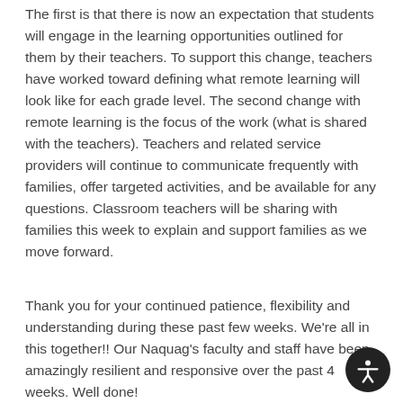The first is that there is now an expectation that students will engage in the learning opportunities outlined for them by their teachers. To support this change, teachers have worked toward defining what remote learning will look like for each grade level. The second change with remote learning is the focus of the work (what is shared with the teachers). Teachers and related service providers will continue to communicate frequently with families, offer targeted activities, and be available for any questions. Classroom teachers will be sharing with families this week to explain and support families as we move forward.
Thank you for your continued patience, flexibility and understanding during these past few weeks. We're all in this together!! Our Naquag's faculty and staff have been amazingly resilient and responsive over the past 4 weeks. Well done!
Remote Learning Plans: Week of 4/20 - 4/24
(Monday, April 20 is Patriots' Day! MA State Holiday!)
Kindergarten Remote Learning Lessons